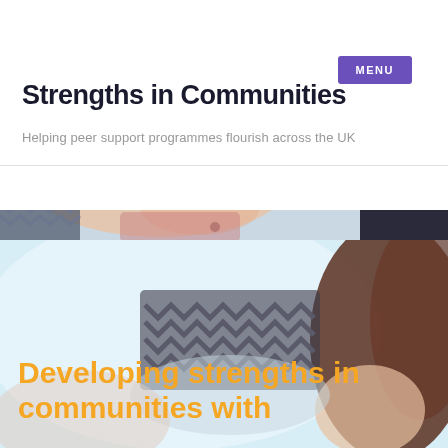MENU
Strengths in Communities
Helping peer support programmes flourish across the UK
[Figure (photo): Top banner photo strip showing a close-up of a person, partially cropped, with a dark right section]
[Figure (photo): Main hero image showing two people in a warm close interaction, with knitted clothing visible, light blue tones]
Developing strengths in communities with